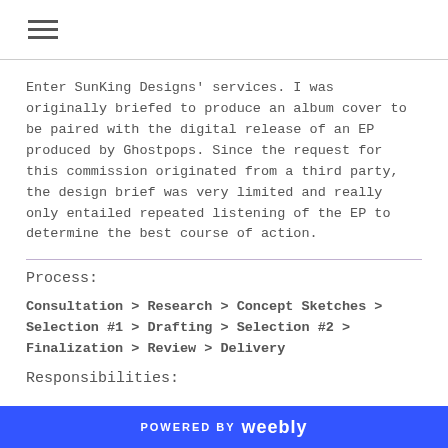≡
Enter SunKing Designs' services. I was originally briefed to produce an album cover to be paired with the digital release of an EP produced by Ghostpops. Since the request for this commission originated from a third party, the design brief was very limited and really only entailed repeated listening of the EP to determine the best course of action.
Process:
Consultation > Research > Concept Sketches > Selection #1 > Drafting > Selection #2 > Finalization > Review > Delivery
Responsibilities:
POWERED BY weebly